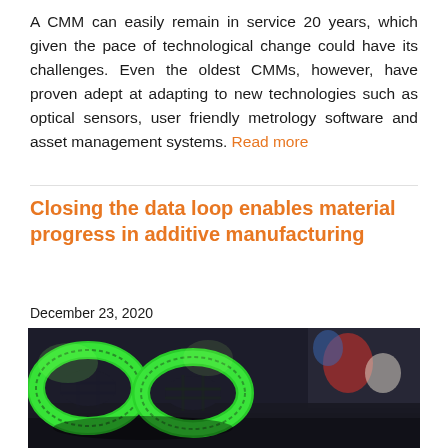A CMM can easily remain in service 20 years, which given the pace of technological change could have its challenges. Even the oldest CMMs, however, have proven adept at adapting to new technologies such as optical sensors, user friendly metrology software and asset management systems. Read more
Closing the data loop enables material progress in additive manufacturing
December 23, 2020
[Figure (photo): Photo of bright green 3D printed interlocking gear/torus shapes on a dark surface, with colorful objects blurred in the background]